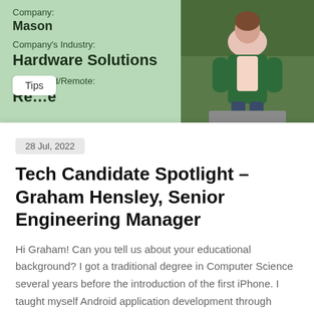Company: Mason
Company's Industry: Hardware Solutions
In... Hybrid/Remote: Remote
[Figure (photo): Professional headshot of a woman in a green blazer and pink shirt, sitting outdoors]
Tips
28 Jul, 2022
Tech Candidate Spotlight – Graham Hensley, Senior Engineering Manager
Hi Graham! Can you tell us about your educational background? I got a traditional degree in Computer Science several years before the introduction of the first iPhone. I taught myself Android application development through reading